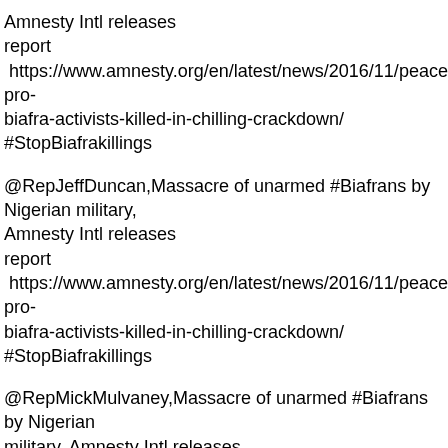Amnesty Intl releases report  https://www.amnesty.org/en/latest/news/2016/11/peaceful-pro-biafra-activists-killed-in-chilling-crackdown/ #StopBiafrakillings
@RepJeffDuncan,Massacre of unarmed #Biafrans by Nigerian military, Amnesty Intl releases report  https://www.amnesty.org/en/latest/news/2016/11/peaceful-pro-biafra-activists-killed-in-chilling-crackdown/ #StopBiafrakillings
@RepMickMulvaney,Massacre of unarmed #Biafrans by Nigerian military, Amnesty Intl releases report  https://www.amnesty.org/en/latest/news/2016/11/peaceful-pro-biafra-activists-killed-in-chilling-crackdown/ #StopBiafrakillings
@RepTomMarino,Massacre of unarmed #Biafrans by Nigerian military, Amnesty Intl releases